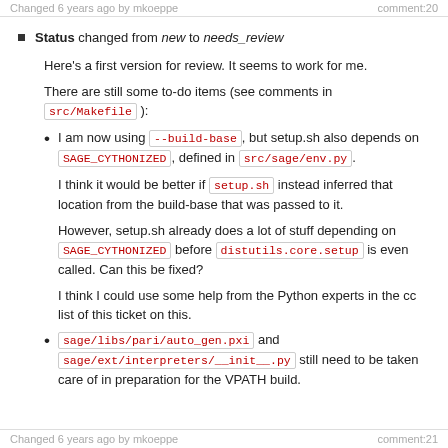Changed 6 years ago by mkoeppe    comment:20
Status changed from new to needs_review
Here's a first version for review. It seems to work for me.
There are still some to-do items (see comments in src/Makefile ):
I am now using --build-base , but setup.sh also depends on SAGE_CYTHONIZED , defined in src/sage/env.py .
I think it would be better if setup.sh instead inferred that location from the build-base that was passed to it.
However, setup.sh already does a lot of stuff depending on SAGE_CYTHONIZED before distutils.core.setup is even called. Can this be fixed?
I think I could use some help from the Python experts in the cc list of this ticket on this.
sage/libs/pari/auto_gen.pxi and sage/ext/interpreters/__init__.py still need to be taken care of in preparation for the VPATH build.
Changed 6 years ago by mkoeppe    comment:21